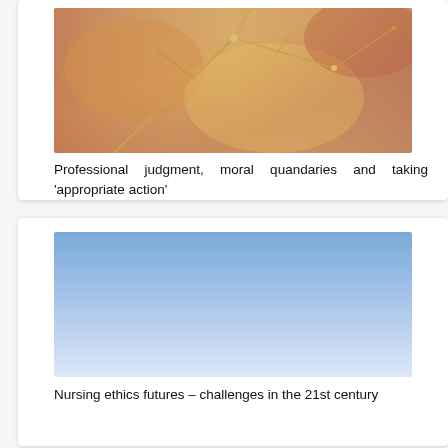[Figure (photo): Close-up photo of branches with buds in warm amber/golden tones with blurred background]
Professional judgment, moral quandaries and taking ‘appropriate action’
[Figure (photo): Photo of a clear blue sky, gradient from deeper blue at top to lighter blue-white at bottom]
Nursing ethics futures – challenges in the 21st century